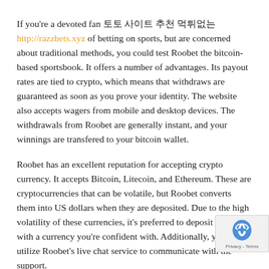If you're a devoted fan 토토 사이트 추천 먹튀없는 http://razzbets.xyz of betting on sports, but are concerned about traditional methods, you could test Roobet the bitcoin-based sportsbook. It offers a number of advantages. Its payout rates are tied to crypto, which means that withdraws are guaranteed as soon as you prove your identity. The website also accepts wagers from mobile and desktop devices. The withdrawals from Roobet are generally instant, and your winnings are transfered to your bitcoin wallet.
Roobet has an excellent reputation for accepting crypto currency. It accepts Bitcoin, Litecoin, and Ethereum. These are cryptocurrencies that can be volatile, but Roobet converts them into US dollars when they are deposited. Due to the high volatility of these currencies, it's preferred to deposit funds with a currency you're confident with. Additionally, you can utilize Roobet's live chat service to communicate with the support.
The user interface on Roobet has a similar design to that traditional casinos. The site is minimalist, but offers a broad selection of games. Users can pick from more than one thousand games. This includes its own games and games provided...